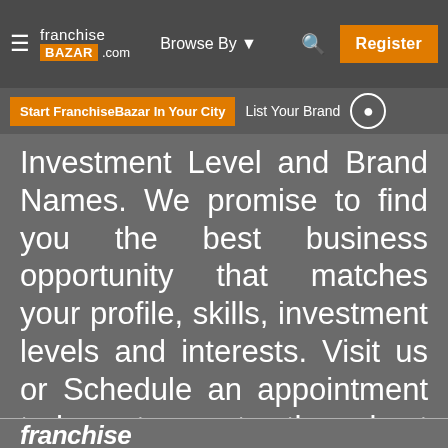[Figure (screenshot): FranchiseBazar.com website navigation bar with hamburger menu, logo, Browse By dropdown, search icon, and orange Register button]
[Figure (screenshot): Secondary navigation bar with orange 'Start FranchiseBazar In Your City' button, 'List Your Brand' text, and user account icon]
Investment Level and Brand Names. We promise to find you the best business opportunity that matches your profile, skills, investment levels and interests. Visit us or Schedule an appointment today to get the best consultation on finding and buying a franchise in India.
franchise